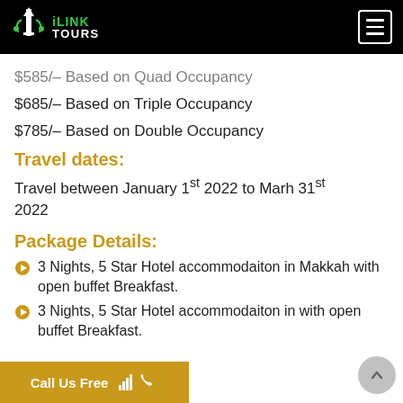iLINK TOURS
$585/– Based on Quad Occupancy
$685/– Based on Triple Occupancy
$785/– Based on Double Occupancy
Travel dates:
Travel between January 1st 2022 to Marh 31st 2022
Package Details:
3 Nights, 5 Star Hotel accommodaiton in Makkah with open buffet Breakfast.
3 Nights, 5 Star Hotel accommodaiton in with open buffet Breakfast.